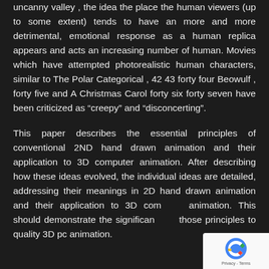uncanny valley , the idea the place the human viewers (up to some extent) tends to have an more and more detrimental, emotional response as a human replica appears and acts an increasing number of human. Movies which have attempted photorealistic human characters, similar to The Polar Categorical , 42 43 forty four Beowulf , forty five and A Christmas Carol forty six forty seven have been criticized as “creepy” and “disconcerting”.
This paper describes the essential principles of conventional 2ND hand drawn animation and their application to 3D computer animation. After describing how these ideas evolved, the individual ideas are detailed, addressing their meanings in 2D hand drawn animation and their application to 3D computer animation. This should demonstrate the significance of those principles to quality 3D pc animation.